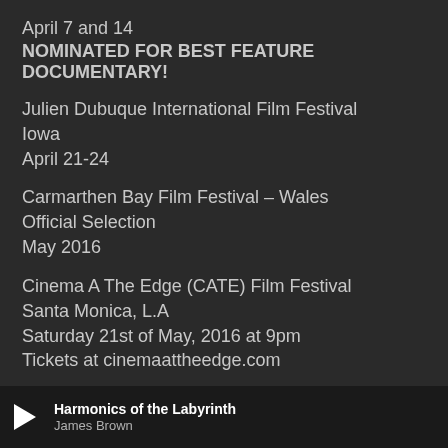April 7 and 14
NOMINATED FOR BEST FEATURE DOCUMENTARY!
Julien Dubuque International Film Festival
Iowa
April 21-24
Carmarthen Bay Film Festival – Wales
Official Selection
May 2016
Cinema A The Edge (CATE) Film Festival
Santa Monica, L.A
Saturday 21st of May, 2016 at 9pm
Tickets at cinemaattheedge.com
Polish Film Festival
Harmonics of the Labyrinth
James Brown